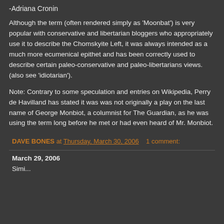-Adriana Cronin
Although the term (often rendered simply as 'Moonbat') is very popular with conservative and libertarian bloggers who appropriately use it to describe the Chomskyite Left, it was always intended as a much more ecumenical epithet and has been correctly used to describe certain paleo-conservative and paleo-libertarians views. (also see 'idiotarian').
Note: Contrary to some speculation and entries on Wikipedia, Perry de Havilland has stated it was was not originally a play on the last name of George Monbiot, a columnist for The Guardian, as he was using the term long before he met or had even heard of Mr. Monbiot.
DAVE BONES at Thursday, March 30, 2006   1 comment:
March 29, 2006
Simi...